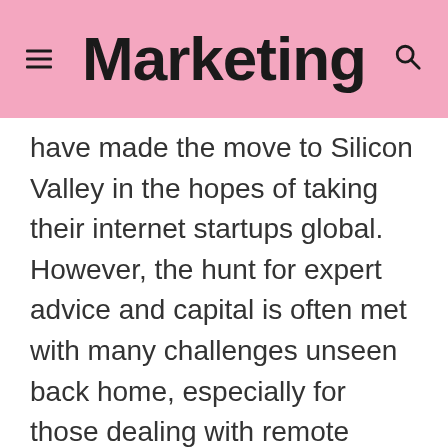Marketing
have made the move to Silicon Valley in the hopes of taking their internet startups global. However, the hunt for expert advice and capital is often met with many challenges unseen back home, especially for those dealing with remote teams operating on opposite sides of the world.
It might sound obvious, but the way you communicate with your team could be the difference between success or a long and frustrating